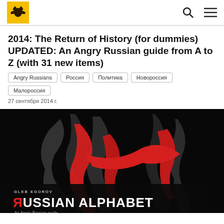2014: The Return of History (for dummies) UPDATED: An Angry Russian guide from A to Z (with 31 new items)
Angry Russians
Россия
Политика
Новороссия
Малороссия
27 сентября 2014 г.
[Figure (illustration): Book cover of 'Russian Alphabet: An Angry Russian Guide' by Gleb Egorov. Black background with dramatic red and gray calligraphic lettering. Author name 'GLEB EGOROV' at top, large text 'ЯUSSIAN ALPHABET' with the R reversed in red, subtitle 'An Angry Russian guide' below in italic.]